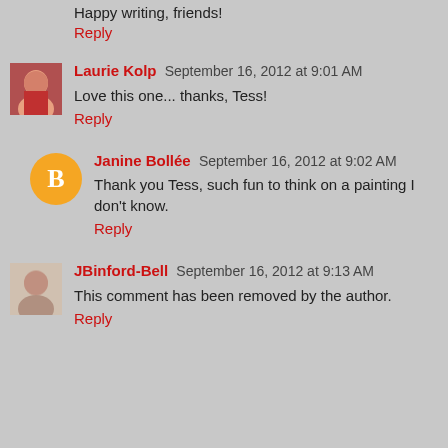Happy writing, friends!
Reply
Laurie Kolp  September 16, 2012 at 9:01 AM
Love this one... thanks, Tess!
Reply
Janine Bollée  September 16, 2012 at 9:02 AM
Thank you Tess, such fun to think on a painting I don't know.
Reply
JBinford-Bell  September 16, 2012 at 9:13 AM
This comment has been removed by the author.
Reply